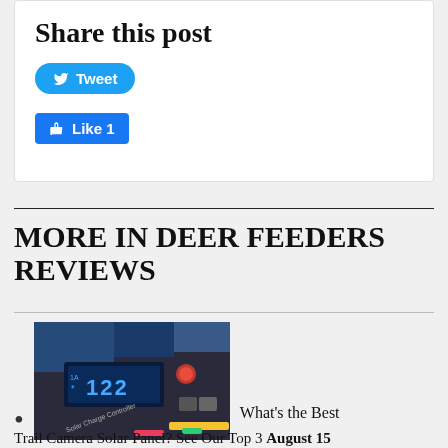Share this post
[Figure (screenshot): Tweet button (blue rounded) and Like 1 button (blue Facebook style)]
MORE IN DEER FEEDERS REVIEWS
[Figure (photo): Close-up photo of a solar charge controller device with digital display showing 122, red button, and colorful wires]
What's the Best
Trail Camera Solar Panel? See Our Top 3 August 15